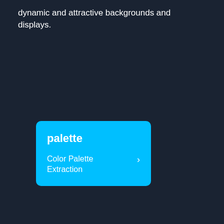dynamic and attractive backgrounds and displays.
[Figure (screenshot): A UI card widget on a dark navy background. The card is bright cyan/sky blue with rounded corners. It contains the bold white title 'palette', followed by a link row 'Color Palette Extraction' with a right-pointing chevron arrow.]